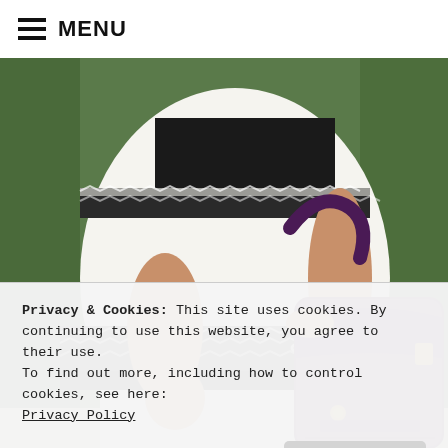≡ MENU
[Figure (photo): Fashion photo of a woman wearing a white blouse with black zigzag/stripe pattern trim, holding a purple leather handbag with gold hardware, wearing a silver bracelet. Green hedge visible in background.]
Privacy & Cookies: This site uses cookies. By continuing to use this website, you agree to their use.
To find out more, including how to control cookies, see here:
Privacy Policy
Close and accept